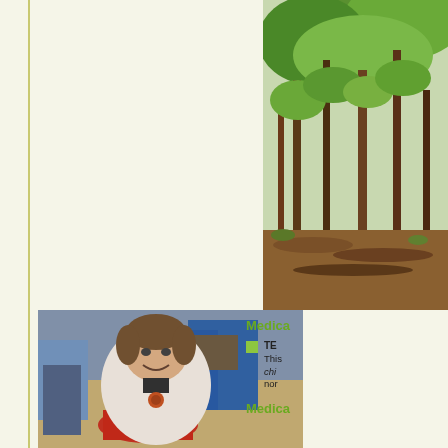[Figure (photo): Photograph of trees/forest, partially visible on the right side of the page]
[Figure (photo): Photograph of a young woman with Down syndrome sitting in a red wheelchair outdoors, smiling at the camera]
Medica
TE
This chi nor
Medica